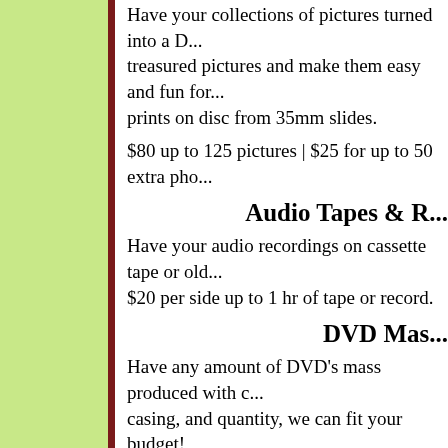Have your collections of pictures turned into a D... treasured pictures and make them easy and fun fo... prints on disc from 35mm slides.
$80 up to 125 pictures | $25 for up to 50 extra pho...
Audio Tapes & R...
Have your audio recordings on cassette tape or old... $20 per side up to 1 hr of tape or record.
DVD Mas...
Have any amount of DVD's mass produced with c... casing, and quantity, we can fit your budget!
Wedding Vi...
We now offer professional video recording of your... best view of your wedding. We now offer high def...
Book your wedding with us and ensure that the ha...
Frequently A...
Q: Will...